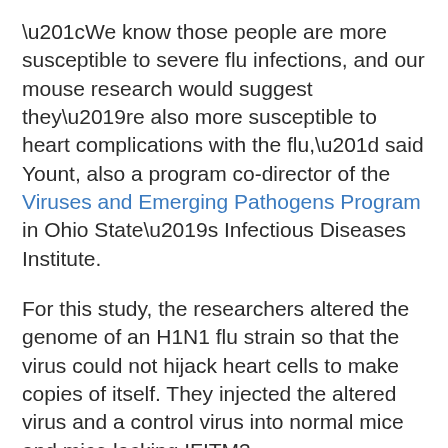“We know those people are more susceptible to severe flu infections, and our mouse research would suggest they’re also more susceptible to heart complications with the flu,” said Yount, also a program co-director of the Viruses and Emerging Pathogens Program in Ohio State’s Infectious Diseases Institute.
For this study, the researchers altered the genome of an H1N1 flu strain so that the virus could not hijack heart cells to make copies of itself. They injected the altered virus and a control virus into normal mice and mice lacking IFITM3.
Both viruses caused lung and systemic inflammation and generated high